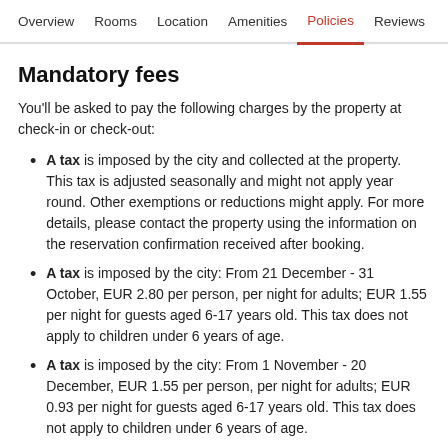Overview  Rooms  Location  Amenities  Policies  Reviews
Mandatory fees
You'll be asked to pay the following charges by the property at check-in or check-out:
A tax is imposed by the city and collected at the property. This tax is adjusted seasonally and might not apply year round. Other exemptions or reductions might apply. For more details, please contact the property using the information on the reservation confirmation received after booking.
A tax is imposed by the city: From 21 December - 31 October, EUR 2.80 per person, per night for adults; EUR 1.55 per night for guests aged 6-17 years old. This tax does not apply to children under 6 years of age.
A tax is imposed by the city: From 1 November - 20 December, EUR 1.55 per person, per night for adults; EUR 0.93 per night for guests aged 6-17 years old. This tax does not apply to children under 6 years of age.
Renovations and closures